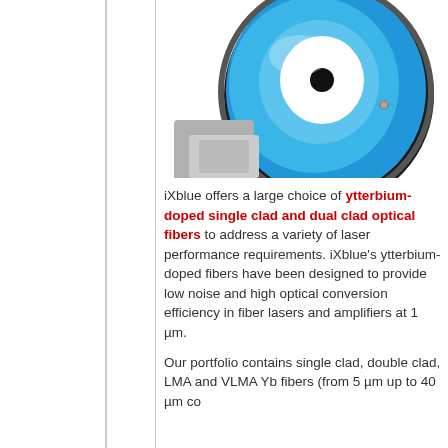[Figure (photo): A blue fiber optic spool/reel with a white circular center and black hole, partially cropped at top. The spool is metallic and cylindrical with a bright blue body.]
iXblue offers a large choice of ytterbium-doped single clad and dual clad optical fibers to address a variety of laser performance requirements. iXblue's ytterbium-doped fibers have been designed to provide low noise and high optical conversion efficiency in fiber lasers and amplifiers at 1 µm.
Our portfolio contains single clad, double clad, LMA and VLMA Yb fibers (from 5 µm up to 40 µm co...